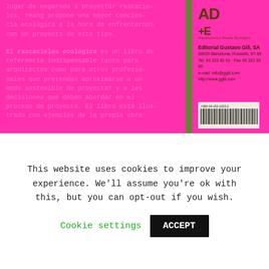lugar de negarnos a proyectar rascacielos, Yeang propone una mayor conciencia ecológica a la hora de enfrentarnos con un proyecto de este tipo.
El rascacielos ecológico es un libro de referencia indispensable tanto para arquitectos como para otros profesionales que pretendan aproximarse a un modo sostenible de proyectar y a las decisiones que deben abordar en el proceso de proyecto. El libro está ilustrado con ejemplos de la propia obra
[Figure (logo): AD+E logo and Editorial Gustavo Gili, SA publisher information with address and contact details]
[Figure (other): ISBN barcode: ISBN 84-252-1833-2]
This website uses cookies to improve your experience. We'll assume you're ok with this, but you can opt-out if you wish.
Cookie settings
ACCEPT